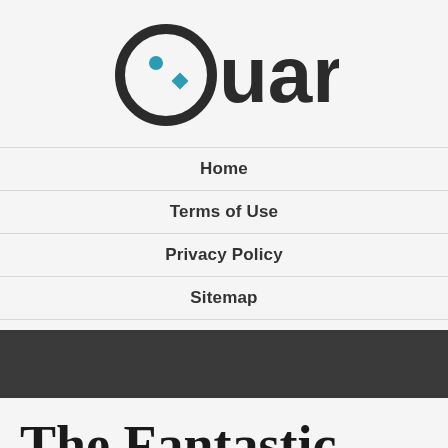[Figure (logo): Quark logo: stylized circle with dot and teal diamond accent forming a Q lettermark, followed by 'uark' in bold dark sans-serif text]
Home
Terms of Use
Privacy Policy
Sitemap
The Fantastic